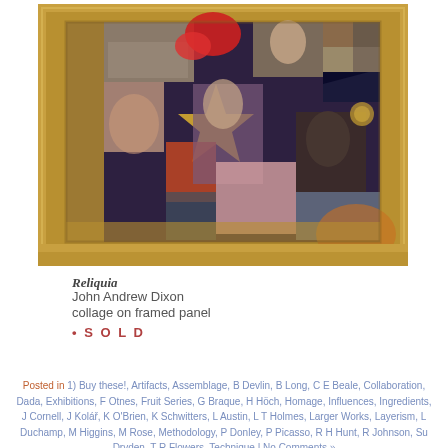[Figure (photo): A collage artwork titled 'Reliquia' by John Andrew Dixon. Mixed media collage on a framed panel with a gold leaf border. The collage contains various photographic and painted images including portraits, figures, geometric shapes, and religious iconography, arranged in a patchwork style.]
Reliquia
John Andrew Dixon
collage on framed panel
• S O L D
Posted in 1) Buy these!, Artifacts, Assemblage, B Devlin, B Long, C E Beale, Collaboration, Dada, Exhibitions, F Otnes, Fruit Series, G Braque, H Höch, Homage, Influences, Ingredients, J Cornell, J Kolář, K O'Brien, K Schwitters, L Austin, L T Holmes, Larger Works, Layerism, L Duchamp, M Higgins, M Rose, Methodology, P Donley, P Picasso, R H Hunt, R Johnson, Su Dryden, T R Flowers, Technique | No Comments »